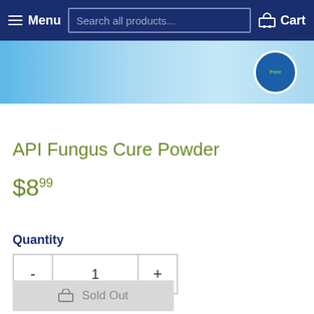Menu | Search all products... | Cart
[Figure (photo): Partial product image of API Fungus Cure Powder box on light blue background with a circular badge showing text]
API Fungus Cure Powder
$8.99
Quantity
- 1 +
Sold Out